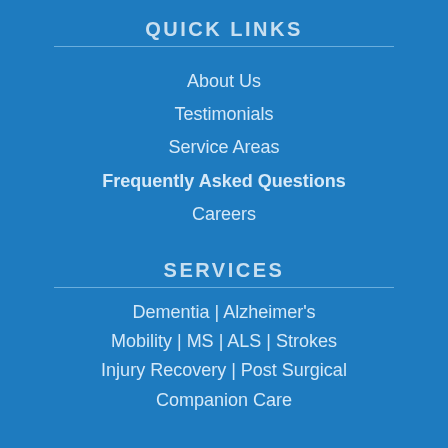QUICK LINKS
About Us
Testimonials
Service Areas
Frequently Asked Questions
Careers
SERVICES
Dementia | Alzheimer's
Mobility | MS | ALS | Strokes
Injury Recovery | Post Surgical
Companion Care